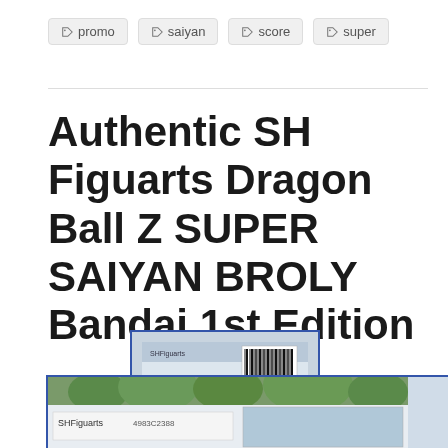# promo
# saiyan
# score
# super
Authentic SH Figuarts Dragon Ball Z SUPER SAIYAN BROLY Bandai 1st Edition
[Figure (photo): Small package/box image with barcode, likely SH Figuarts product packaging, blue border]
[Figure (photo): Partial image of SH Figuarts product box with text 'SHFiguarts' visible and product number, set against greenery background]